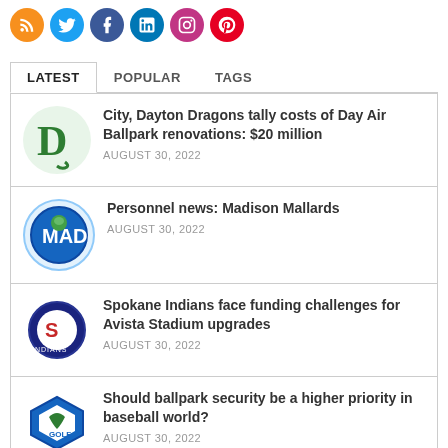[Figure (infographic): Row of social media icon circles: RSS (orange), Twitter (blue), Facebook (dark blue), LinkedIn (blue), Instagram (purple), Pinterest (red)]
LATEST   POPULAR   TAGS
[Figure (logo): Dayton Dragons green D logo]
City, Dayton Dragons tally costs of Day Air Ballpark renovations: $20 million
AUGUST 30, 2022
[Figure (logo): Madison Mallards logo]
Personnel news: Madison Mallards
AUGUST 30, 2022
[Figure (logo): Spokane Indians S logo]
Spokane Indians face funding challenges for Avista Stadium upgrades
AUGUST 30, 2022
[Figure (logo): Minor league baseball team logo - blue diamond]
Should ballpark security be a higher priority in baseball world?
AUGUST 30, 2022
[Figure (logo): Tampa Bay Rays RAYS logo]
St. Pete makes another run at Tropicana Field redevelopment